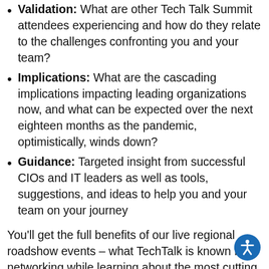Validation: What are other Tech Talk Summit attendees experiencing and how do they relate to the challenges confronting you and your team?
Implications: What are the cascading implications impacting leading organizations now, and what can be expected over the next eighteen months as the pandemic, optimistically, winds down?
Guidance: Targeted insight from successful CIOs and IT leaders as well as tools, suggestions, and ideas to help you and your team on your journey
You'll get the full benefits of our live regional roadshow events – what TechTalk is known for – networking while learning about the most cutting edge technologies in a live environment. Meet and speak with our